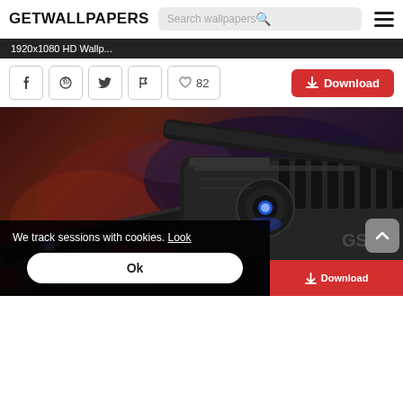GETWALLPAPERS
1920x1080 HD Wallp...
82 likes, social share buttons, Download button
[Figure (screenshot): Dark sci-fi weapon/gun closeup wallpaper image with glowing blue light and mechanical details]
We track sessions with cookies. Look
Ok